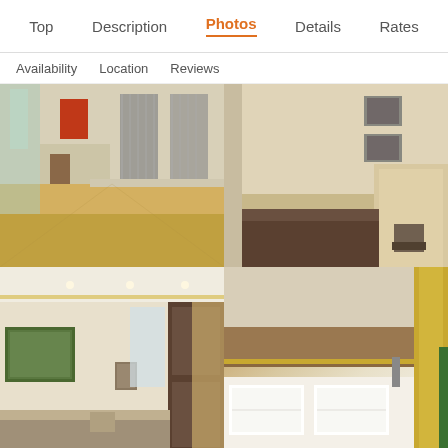Top | Description | Photos | Details | Rates
Availability | Location | Reviews
[Figure (photo): Hotel corridor with hardwood floors, tall windows with shutters, and a dining area visible in the background]
[Figure (photo): Hotel room interior with artwork on walls, hardwood floors, and furniture]
[Figure (photo): Hotel bedroom/sitting room with painting on wall, curtains, and seating area]
[Figure (photo): Close-up of hotel bed with white pillows and headboard]